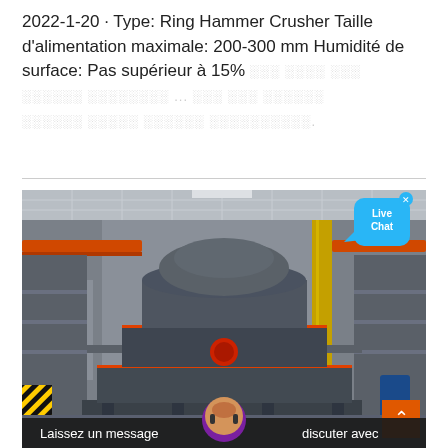2022-1-20 · Type: Ring Hammer Crusher Taille d'alimentation maximale: 200-300 mm Humidité de surface: Pas supérieur à 15% ░░░ ░░░░ ░░░ ░░░░░░ ░░░░░░░░ ... ░░░ ░░░ ░░░░░░ ░░░░░░ ░░░░░ ░░░░░░ ░░░░░░░░░░.
[Figure (photo): Industrial Ring Hammer Crusher machine inside a factory/warehouse, showing a large grey crushing machine with red trim, orange overhead beams, scaffolding platforms on both sides, and a Live Chat bubble overlay in the top right corner.]